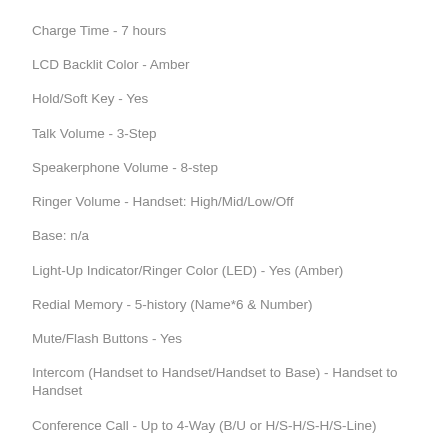Charge Time - 7 hours
LCD Backlit Color - Amber
Hold/Soft Key - Yes
Talk Volume - 3-Step
Speakerphone Volume - 8-step
Ringer Volume - Handset: High/Mid/Low/Off
Base: n/a
Light-Up Indicator/Ringer Color (LED) - Yes (Amber)
Redial Memory - 5-history (Name*6 & Number)
Mute/Flash Buttons - Yes
Intercom (Handset to Handset/Handset to Base) - Handset to Handset
Conference Call - Up to 4-Way (B/U or H/S-H/S-H/S-Line)